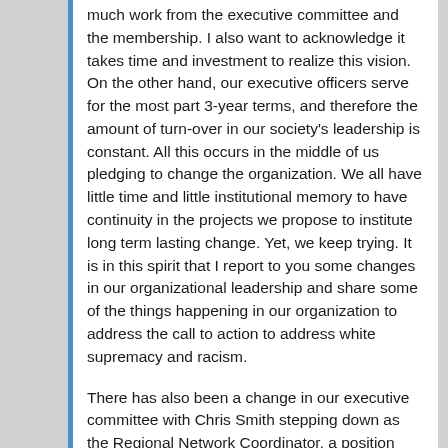much work from the executive committee and the membership. I also want to acknowledge it takes time and investment to realize this vision. On the other hand, our executive officers serve for the most part 3-year terms, and therefore the amount of turn-over in our society's leadership is constant. All this occurs in the middle of us pledging to change the organization. We all have little time and little institutional memory to have continuity in the projects we propose to institute long term lasting change. Yet, we keep trying. It is in this spirit that I report to you some changes in our organizational leadership and share some of the things happening in our organization to address the call to action to address white supremacy and racism.
There has also been a change in our executive committee with Chris Smith stepping down as the Regional Network Coordinator, a position that supports local networks creating meaningful opportunities for connecting, including through regional conferences. I want to thank Chris for the work she did while she